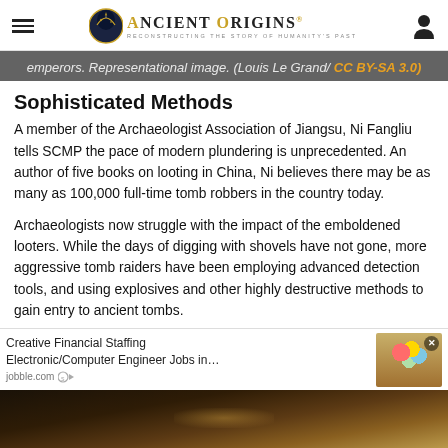Ancient Origins — Reconstructing the story of humanity's past
emperors. Representational image. (Louis Le Grand/ CC BY-SA 3.0)
Sophisticated Methods
A member of the Archaeologist Association of Jiangsu, Ni Fangliu tells SCMP the pace of modern plundering is unprecedented. An author of five books on looting in China, Ni believes there may be as many as 100,000 full-time tomb robbers in the country today.
Archaeologists now struggle with the impact of the emboldened looters. While the days of digging with shovels have not gone, more aggressive tomb raiders have been employing advanced detection tools, and using explosives and other highly destructive methods to gain entry to ancient tombs.
[Figure (screenshot): Advertisement bar: Creative Financial Staffing Electronic/Computer Engineer Jobs in... with balloon thumbnail image and close button]
[Figure (photo): Bottom portion of a dark ancient tomb interior photograph]